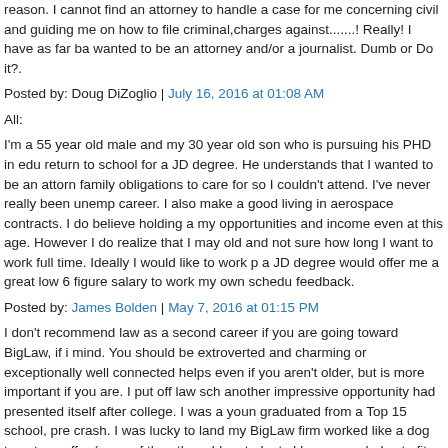reason. I cannot find an attorney to handle a case for me concerning civil and guiding me on how to file criminal,charges against.......! Really! I have as far ba wanted to be an attorney and/or a journalist. Dumb or Do it?.
Posted by: Doug DiZoglio | July 16, 2016 at 01:08 AM
All:
I'm a 55 year old male and my 30 year old son who is pursuing his PHD in edu return to school for a JD degree. He understands that I wanted to be an attorn family obligations to care for so I couldn't attend. I've never really been unemp career. I also make a good living in aerospace contracts. I do believe holding a my opportunities and income even at this age. However I do realize that I may old and not sure how long I want to work full time. Ideally I would like to work p a JD degree would offer me a great low 6 figure salary to work my own schedu feedback.
Posted by: James Bolden | May 7, 2016 at 01:15 PM
I don't recommend law as a second career if you are going toward BigLaw, if i mind. You should be extroverted and charming or exceptionally well connected helps even if you aren't older, but is more important if you are. I put off law sch another impressive opportunity had presented itself after college. I was a youn graduated from a Top 15 school, pre crash. I was lucky to land my BigLaw firm worked like a dog to get my offer (none of the other older students I knew ever helps to fit in; for older students this can be harder. In BigLaw junior associates political connectedness while working long hours; I suspect I didn't remind par starting out, but instead came across as an independent and experienced prof quite a peer and couldn't go to partner meetings. As new associates came in y mentors, I began to fade into the woodwork. Continued high bonuses for grea anyone caring enough to give me those reviews. I got little opportunity for care profile work. Discrimination is real, and may not be intentional. Don't cut again